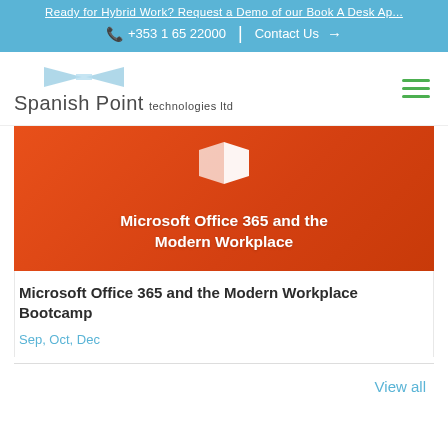Ready for Hybrid Work? Request a Demo of our Book A Desk Ap...
+353 1 65 22000 | Contact Us →
[Figure (logo): Spanish Point technologies ltd logo with blue bowtie/ribbon graphic]
[Figure (photo): Orange branded banner image with Microsoft Office logo icon and text: Microsoft Office 365 and the Modern Workplace]
Microsoft Office 365 and the Modern Workplace Bootcamp
Sep, Oct, Dec
View all